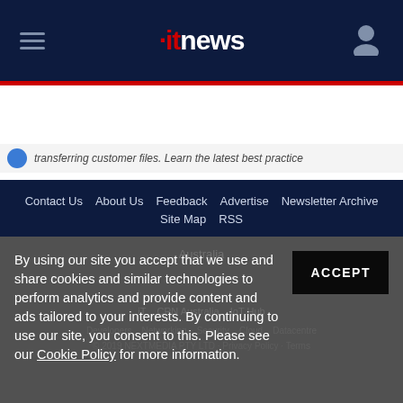itnews
[Figure (screenshot): Advertisement banner with logo and partial text: transferring customer files. Learn the latest best practice]
Contact Us   About Us   Feedback   Advertise   Newsletter Archive   Site Map   RSS
By using our site you accept that we use and share cookies and similar technologies to perform analytics and provide content and ads tailored to your interests. By continuing to use our site, you consent to this. Please see our Cookie Policy for more information.